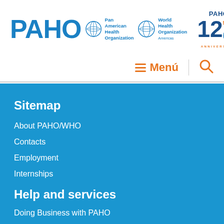[Figure (logo): PAHO - Pan American Health Organization / World Health Organization Americas logo with 120th anniversary badge]
≡ Menú | 🔍
Sitemap
About PAHO/WHO
Contacts
Employment
Internships
Help and services
Doing Business with PAHO
Integrity & Conflict Management (ICMS)
Privacy Policy
Terms and conditions for the use of the site